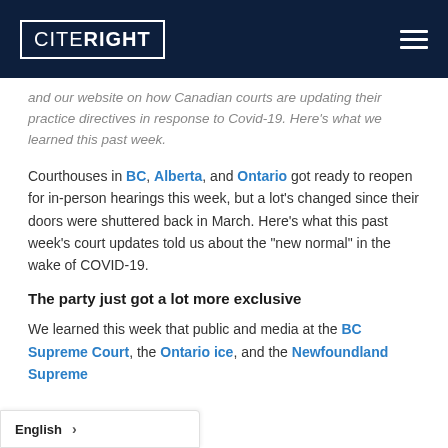CITERIGHT
and our website on how Canadian courts are updating their practice directives in response to Covid-19. Here's what we learned this past week.
Courthouses in BC, Alberta, and Ontario got ready to reopen for in-person hearings this week, but a lot's changed since their doors were shuttered back in March. Here's what this past week's court updates told us about the "new normal" in the wake of COVID-19.
The party just got a lot more exclusive
We learned this week that public and media at the BC Supreme Court, the Ontario ice, and the Newfoundland Supreme